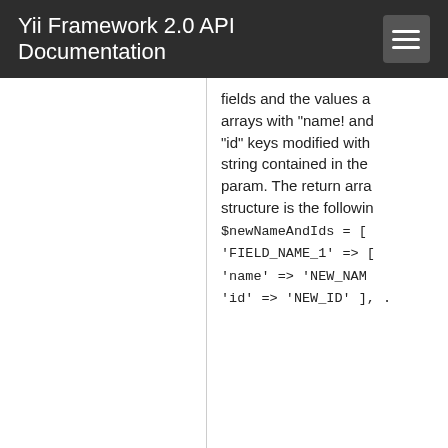Yii Framework 2.0 API Documentation
| Method | Description |
| --- | --- |
|  | fields and the values a arrays with "name! and "id" keys modified with string contained in the param. The return arra structure is the followin $newNameAndIds = [ 'FIELD_NAME_1' => [ 'name' => 'NEW_NAM 'id' => 'NEW_ID' ], . |
| representingColumn() |  |
| rules() |  |
| safeAttributes() | Returns the attribute names that are safe to massively assigned in current scenario. |
| save() | Saves the current rec |